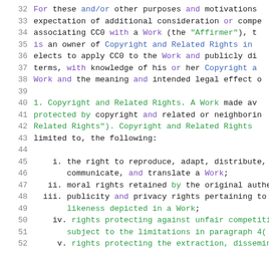32  For these and/or other purposes and motivations
33  expectation of additional consideration or compe
34  associating CC0 with a Work (the "Affirmer"), t
35  is an owner of Copyright and Related Rights in
36  elects to apply CC0 to the Work and publicly di
37  terms, with knowledge of his or her Copyright a
38  Work and the meaning and intended legal effect o
39
40  1. Copyright and Related Rights. A Work made av
41  protected by copyright and related or neighborin
42  Related Rights"). Copyright and Related Rights
43  limited to, the following:
44
45    i. the right to reproduce, adapt, distribute,
46       communicate, and translate a Work;
47   ii. moral rights retained by the original auth
48  iii. publicity and privacy rights pertaining to
49       likeness depicted in a Work;
50   iv. rights protecting against unfair competiti
51       subject to the limitations in paragraph 4(
52    v. rights protecting the extraction, dissemina